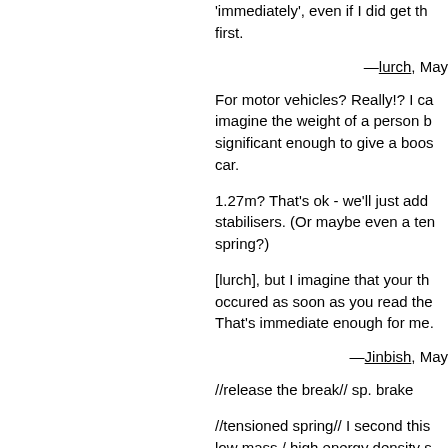'immediately', even if I did get th first.
—lurch, May
For motor vehicles? Really!? I ca imagine the weight of a person b significant enough to give a boos car.
1.27m? That's ok - we'll just add stabilisers. (Or maybe even a ten spring?)
[lurch], but I imagine that your th occured as soon as you read the That's immediate enough for me.
—Jinbish, May
//release the break// sp. brake
//tensioned spring// I second this low mass / high energy density s of mechanical energy, it's hard to rubber band. Maybe try bungee c for a prototype?
—csea, May